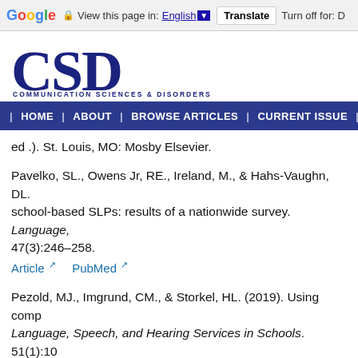[Figure (screenshot): Google Translate toolbar at top of page with language selector showing English and Translate button]
[Figure (logo): CSD Communication Sciences & Disorders journal logo with large blue CSD letters and subtitle text]
HOME | ABOUT | BROWSE ARTICLES | CURRENT ISSUE | FO
ed .). St. Louis, MO: Mosby Elsevier.
Pavelko, SL., Owens Jr, RE., Ireland, M., & Hahs-Vaughn, DL. school-based SLPs: results of a nationwide survey. Language, 47(3):246–258.
Article [external link]   PubMed [external link]
Pezold, MJ., Imgrund, CM., & Storkel, HL. (2019). Using comp Language, Speech, and Hearing Services in Schools. 51(1):10
Article [external link]   PubMed [external link]
Price, J.H., Hendricks, S., & Cook, C. (2010). Incorporating com